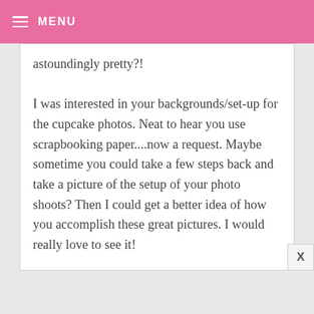MENU
astoundingly pretty?!

I was interested in your backgrounds/set-up for the cupcake photos. Neat to hear you use scrapbooking paper....now a request. Maybe sometime you could take a few steps back and take a picture of the setup of your photo shoots? Then I could get a better idea of how you accomplish these great pictures. I would really love to see it!